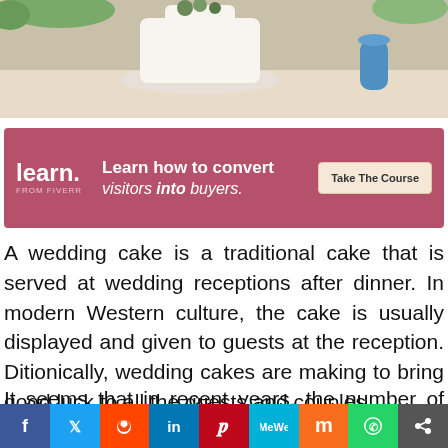[Figure (photo): Photo of a wedding cake with white frosting and succulent decorations on a table, with a blue vase in the background]
[Figure (infographic): Advertisement banner: learn. FROM FIVERR — Learn how to convert visitors into buyers. Take The Course button.]
A wedding cake is a traditional cake that is served at wedding receptions after dinner. In modern Western culture, the cake is usually displayed and given to guests at the reception. Ditionically, wedding cakes are making to bring good luck to all the guests and couples.
It seems that in recent years, the number of people turning to wedding cakes is on the rise. With
[Figure (infographic): Social media share bar with icons for Facebook, Twitter, Reddit, LinkedIn, Pinterest, MeWe, Mix, WhatsApp, and Share]